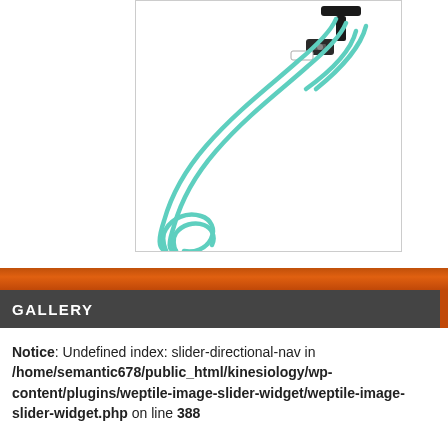[Figure (photo): Product photo of a teal/mint colored eyeglass cord/lanyard with black buckle connector, shown against a white background inside a bordered box.]
GALLERY
Notice: Undefined index: slider-directional-nav in /home/semantic678/public_html/kinesiology/wp-content/plugins/weptile-image-slider-widget/weptile-image-slider-widget.php on line 388